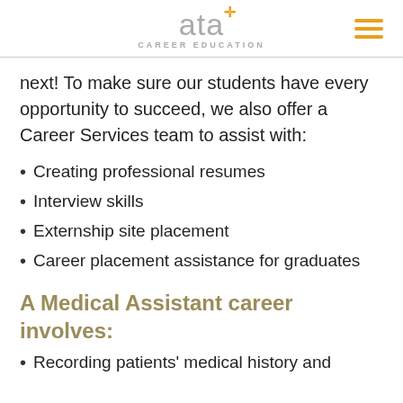ata CAREER EDUCATION
next! To make sure our students have every opportunity to succeed, we also offer a Career Services team to assist with:
Creating professional resumes
Interview skills
Externship site placement
Career placement assistance for graduates
A Medical Assistant career involves:
Recording patients' medical history and